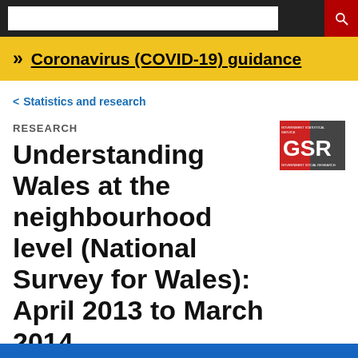Coronavirus (COVID-19) guidance
< Statistics and research
RESEARCH
[Figure (logo): GSR Government Social Research logo — red and grey badge with 'GSR' text]
Understanding Wales at the neighbourhood level (National Survey for Wales): April 2013 to March 2014